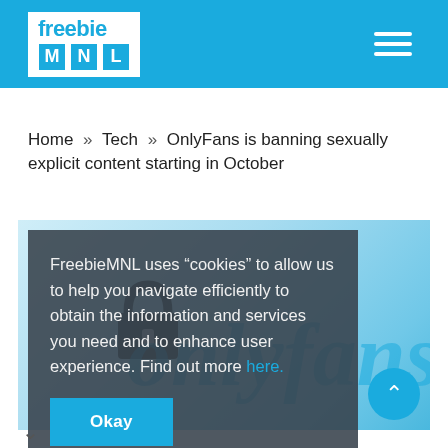freebie MNL
Home » Tech » OnlyFans is banning sexually explicit content starting in October
[Figure (photo): OnlyFans branded image with lock icon and 'only fans' watermark text on a blue background]
FreebieMNL uses “cookies” to allow us to help you navigate efficiently to obtain the information and services you need and to enhance user experience. Find out more here.
Okay